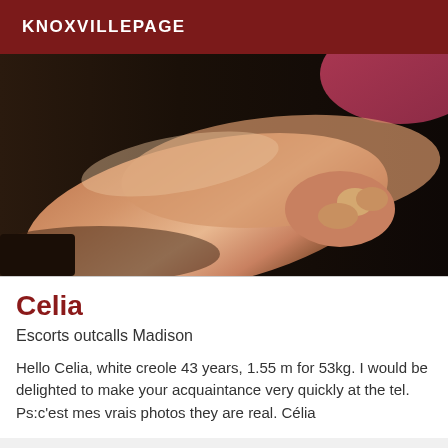KNOXVILLEPAGE
[Figure (photo): Close-up photo of a person's legs and hands]
Celia
Escorts outcalls Madison
Hello Celia, white creole 43 years, 1.55 m for 53kg. I would be delighted to make your acquaintance very quickly at the tel. Ps:c'est mes vrais photos they are real. Célia